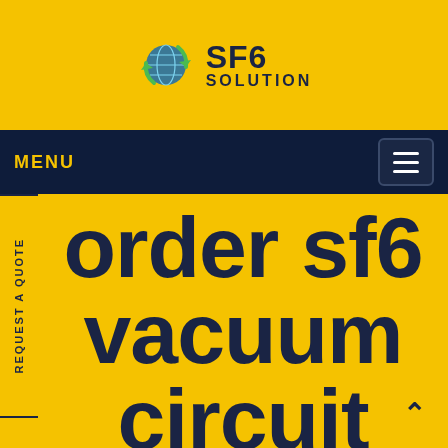[Figure (logo): SF6 Solution logo with green recycling arrows around a globe icon, text 'SF6' in bold dark navy and 'SOLUTION' in smaller bold navy text]
MENU
REQUEST A QUOTE
order sf6 vacuum circuit breaker